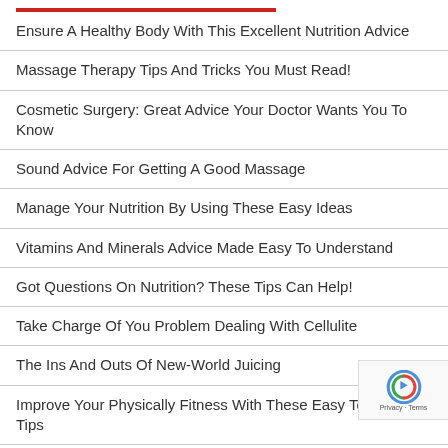Ensure A Healthy Body With This Excellent Nutrition Advice
Massage Therapy Tips And Tricks You Must Read!
Cosmetic Surgery: Great Advice Your Doctor Wants You To Know
Sound Advice For Getting A Good Massage
Manage Your Nutrition By Using These Easy Ideas
Vitamins And Minerals Advice Made Easy To Understand
Got Questions On Nutrition? These Tips Can Help!
Take Charge Of You Problem Dealing With Cellulite
The Ins And Outs Of New-World Juicing
Improve Your Physically Fitness With These Easy To Follow Tips
RECOMMENDED